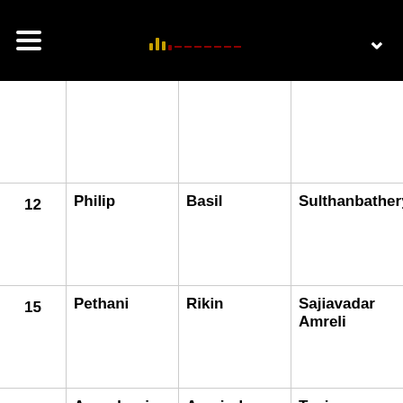≡ [logo] ∨
|  |  |  |  |
| 12 | Philip | Basil | Sulthanbathery |
| 15 | Pethani | Rikin | Sajiavadar Amreli |
| 23 | Annadurai | Aravind | Tanjore |